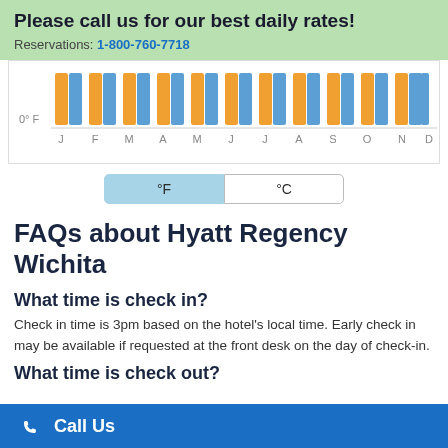Please call us for our best daily rates! Reservations: 1-800-760-7718
[Figure (grouped-bar-chart): Monthly high/low temperature bar chart showing orange and blue bars for each month, with 0°F label on y-axis]
°F   °C (toggle buttons)
FAQs about Hyatt Regency Wichita
What time is check in?
Check in time is 3pm based on the hotel's local time. Early check in may be available if requested at the front desk on the day of check-in.
What time is check out?
Call Us